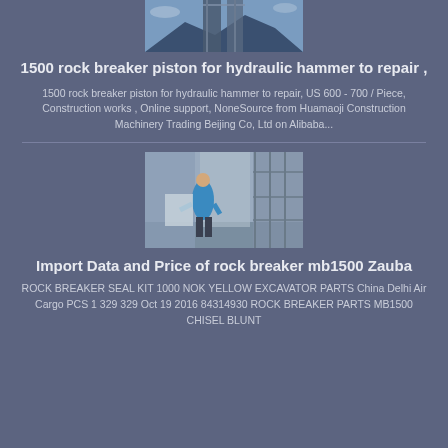[Figure (photo): Photo of a construction site or bridge structure with blue sky and equipment]
1500 rock breaker piston for hydraulic hammer to repair ,
1500 rock breaker piston for hydraulic hammer to repair, US 600 - 700 / Piece, Construction works , Online support, NoneSource from Huamaoji Construction Machinery Trading Beijing Co, Ltd on Alibaba...
[Figure (photo): Photo of a construction worker in a blue jacket inside a large industrial building with scaffolding and panels]
Import Data and Price of rock breaker mb1500 Zauba
ROCK BREAKER SEAL KIT 1000 NOK YELLOW EXCAVATOR PARTS China Delhi Air Cargo PCS 1 329 329 Oct 19 2016 84314930 ROCK BREAKER PARTS MB1500 CHISEL BLUNT